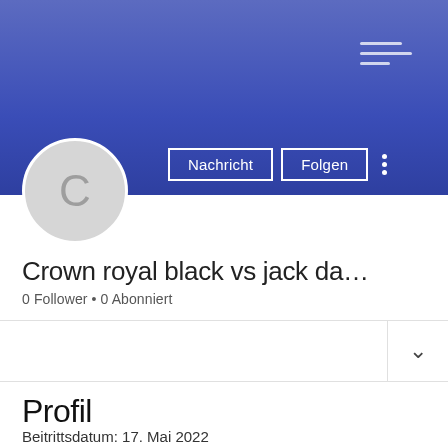[Figure (screenshot): Social media profile page banner with blue/indigo gradient background and three white horizontal lines (hamburger/menu icon) in upper right]
Crown royal black vs jack da…
0 Follower • 0 Abonniert
Profil
Beitrittsdatum: 17. Mai 2022
Info